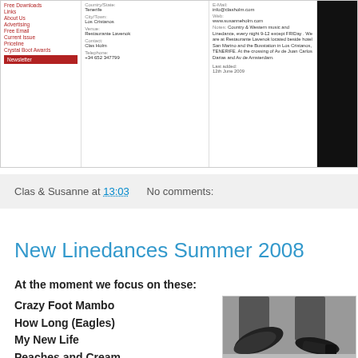[Figure (screenshot): Screenshot of a website showing navigation links on left (Free Downloads, Links, About Us, Advertising, Free Email, Current Issue, Pricelins, Crystal Boot Awards, Newsletter button), middle column with Country/State: Tenerife, City/Town: Los Cristanos, Venue: Restaurante Lavenok, Contact: Clas Holm, Telephone: +34 652 347799, right column with E-Mail: info@clasholm.com, Web: www.susanneholm.com, Notes about Country & Western music and Linedance, Last added: 12th June 2009, and a dark photo on far right.]
Clas & Susanne at 13:03      No comments:
New Linedances Summer 2008
At the moment we focus on these:
Crazy Foot Mambo
How Long (Eagles)
My New Life
Peaches and Cream
Amore de Hielo
A Cowboy and a Dancer
[Figure (photo): Close-up photo of dancing shoes/boots, showing the soles and legs of a dancer, with dark trousers and black dance shoes]